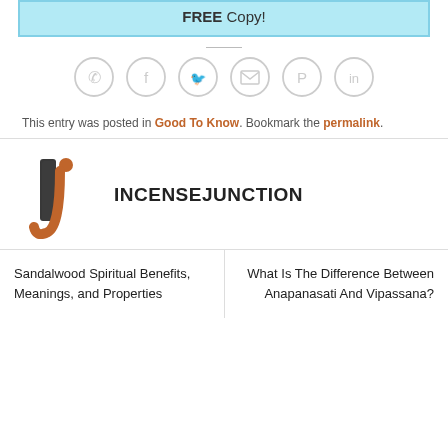FREE Copy!
[Figure (illustration): Social share icons row: WhatsApp, Facebook, Twitter, Email, Pinterest, LinkedIn — all gray circle outlines]
This entry was posted in Good To Know. Bookmark the permalink.
[Figure (logo): IncenseJunction logo: black vertical bar I with orange dot, and orange curved J]
INCENSEJUNCTION
Sandalwood Spiritual Benefits, Meanings, and Properties
What Is The Difference Between Anapanasati And Vipassana?